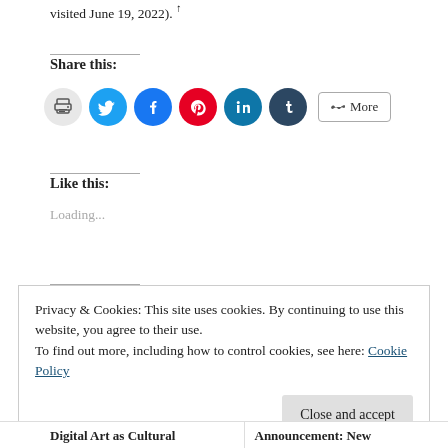visited June 19, 2022). ↑
Share this:
[Figure (other): Row of social sharing icon buttons: print (gray circle), Twitter (blue), Facebook (blue), Pinterest (red), LinkedIn (teal), Tumblr (dark), and a More button]
Like this:
Loading...
Privacy & Cookies: This site uses cookies. By continuing to use this website, you agree to their use.
To find out more, including how to control cookies, see here: Cookie Policy
Close and accept
Digital Art as Cultural
Announcement: New